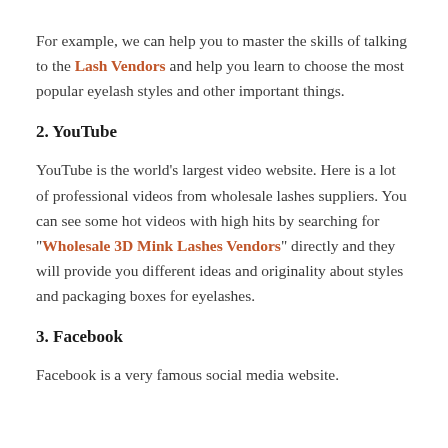For example, we can help you to master the skills of talking to the Lash Vendors and help you learn to choose the most popular eyelash styles and other important things.
2. YouTube
YouTube is the world's largest video website. Here is a lot of professional videos from wholesale lashes suppliers. You can see some hot videos with high hits by searching for "Wholesale 3D Mink Lashes Vendors" directly and they will provide you different ideas and originality about styles and packaging boxes for eyelashes.
3. Facebook
Facebook is a very famous social media website.